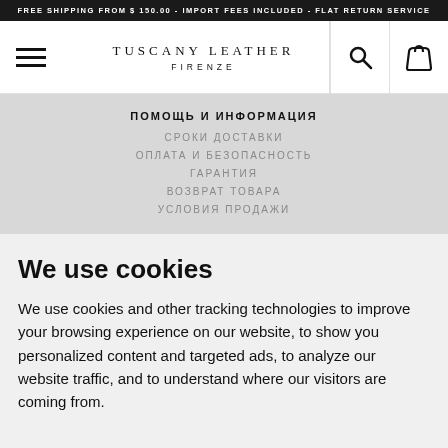FREE SHIPPING FROM $ 150.00 - IMPORT FEES INCLUDED - FLAT RETURN SERVICE
[Figure (screenshot): Tuscany Leather Firenze website navigation bar with hamburger menu icon on left, brand name in center, search and shopping bag icons on right]
ПОМОЩЬ И ИНФОРМАЦИЯ
СРОКИ ДОСТАВКИ
ОПЛАТА И БЕЗОПАСНОСТЬ
ГАРАНТИЯ
ВОЗВРАТ ТОВАРА
УСЛОВИЯ ПРОДАЖИ
We use cookies
We use cookies and other tracking technologies to improve your browsing experience on our website, to show you personalized content and targeted ads, to analyze our website traffic, and to understand where our visitors are coming from.